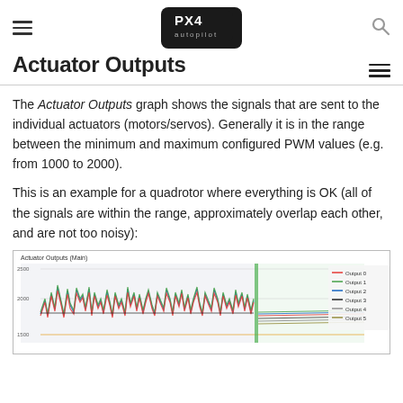PX4 Autopilot
Actuator Outputs
The Actuator Outputs graph shows the signals that are sent to the individual actuators (motors/servos). Generally it is in the range between the minimum and maximum configured PWM values (e.g. from 1000 to 2000).
This is an example for a quadrotor where everything is OK (all of the signals are within the range, approximately overlap each other, and are not too noisy):
[Figure (continuous-plot): Actuator Outputs (Main) graph showing multiple output signals (Output 0 through Output 5) over time. The graph has Y-axis values from approximately 1500 to 2500. The signals show noisy waveforms on the left half and flatter lines on the right half, with a vertical green marker indicating a point in time. A legend on the right shows Output 0 (red), Output 1 (green), Output 2 (blue), Output 3 (black), Output 4 (gray), Output 5 (olive).]